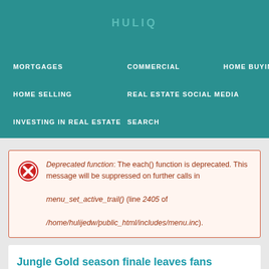HULIQ
MORTGAGES
COMMERCIAL
HOME BUYING
HOME SELLING
REAL ESTATE SOCIAL MEDIA
INVESTING IN REAL ESTATE
SEARCH
Deprecated function: The each() function is deprecated. This message will be suppressed on further calls in menu_set_active_trail() (line 2405 of /home/hulijedw/public_html/includes/menu.inc).
Jungle Gold season finale leaves fans wondering, "Is this show fake?"